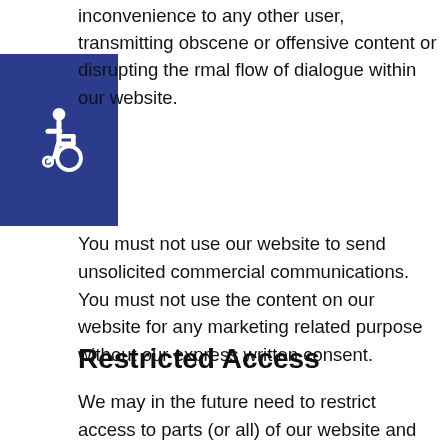inconvenience to any other user, transmitting obscene or offensive content or disrupting the rmal flow of dialogue within our website.
[Figure (illustration): Blue square accessibility icon with wheelchair symbol in white]
You must not use our website to send unsolicited commercial communications. You must not use the content on our website for any marketing related purpose without our express written consent.
Restricted Access
We may in the future need to restrict access to parts (or all) of our website and reserve full rights to do so. If, at any point, we provide you with a username and password for you to access restricted areas of our website, you must ensure that both your username and password are kept confidential.